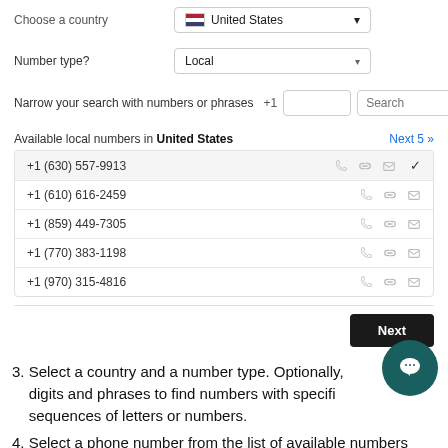Choose a country — United States
Number type? — Local
Narrow your search with numbers or phrases  +1  [input]  Search
Available local numbers in United States     Next 5 »
| Number | Icons | Selected |
| --- | --- | --- |
| +1 (630) 557-9913 | phone, link, mail | ✓ |
| +1 (610) 616-2459 | phone, link, mail |  |
| +1 (859) 449-7305 | phone, link, mail |  |
| +1 (770) 383-1198 | phone, link, mail |  |
| +1 (970) 315-4816 | phone, link, mail |  |
Next (button)
3. Select a country and a number type. Optionally, enter digits and phrases to find numbers with specific sequences of letters or numbers.
4. Select a phone number from the list of available numbers